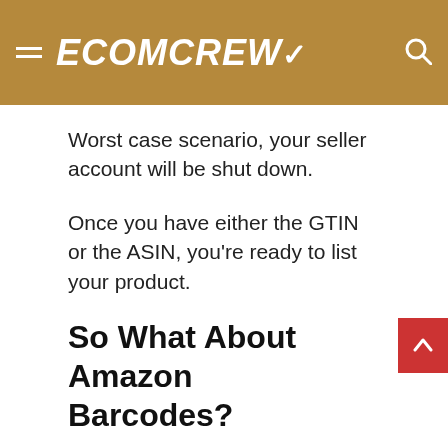ECOMCREW
Worst case scenario, your seller account will be shut down.
Once you have either the GTIN or the ASIN, you're ready to list your product.
So What About Amazon Barcodes?
If you're a private labeler selling your own branded products through either Amazon [continued]